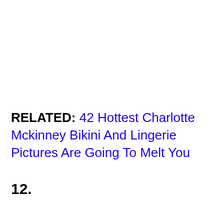RELATED: 42 Hottest Charlotte Mckinney Bikini And Lingerie Pictures Are Going To Melt You
12.